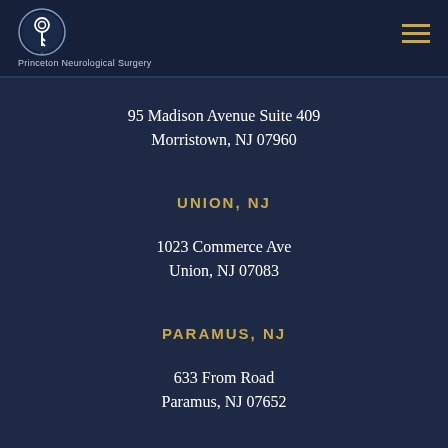[Figure (logo): Princeton Neurological Surgery logo — circular emblem with key/spine icon, white on dark blue, with text 'Princeton Neurological Surgery' below]
95 Madison Avenue Suite 409
Morristown, NJ 07960
UNION, NJ
1023 Commerce Ave
Union, NJ 07083
PARAMUS, NJ
633 From Road
Paramus, NJ 07652